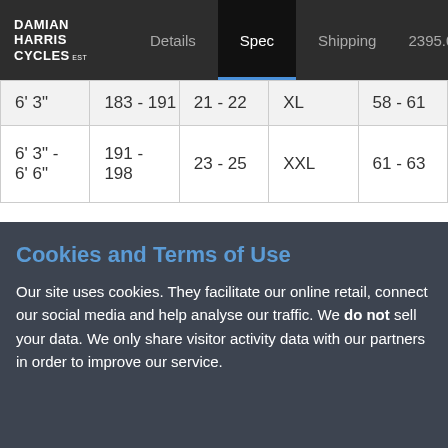DAMIAN HARRIS CYCLES est 1991 | Details | Spec | Shipping | 2395.00
| 6' 3" | 183 - 191 | 21 - 22 | XL | 58 - 61 |
| 6' 3" - 6' 6" | 191 - 198 | 23 - 25 | XXL | 61 - 63 |
Cookies and Terms of Use
Our site uses cookies. They facilitate our online retail, connect our social media and help analyse our traffic. We do not sell your data. We only share visitor activity data with our partners in order to improve our service.